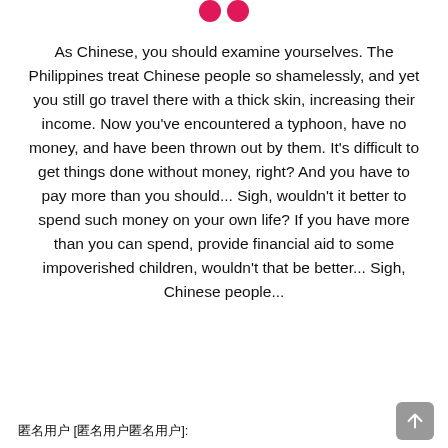[Figure (illustration): Two pink/red filled circles side by side resembling quotation mark dots at the top center of the page]
As Chinese, you should examine yourselves. The Philippines treat Chinese people so shamelessly, and yet you still go travel there with a thick skin, increasing their income. Now you've encountered a typhoon, have no money, and have been thrown out by them. It's difficult to get things done without money, right? And you have to pay more than you should... Sigh, wouldn't it better to spend such money on your own life? If you have more than you can spend, provide financial aid to some impoverished children, wouldn't that be better... Sigh, Chinese people...
匿名用户 [匿名用户匿名用户]: